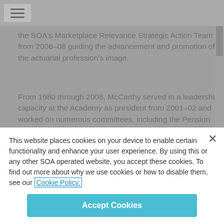the SOA's Marketplace Relevance Strategic Action Team from 2006–08 guiding the advancement and promotion of the actuarial profession's image.
From 1980 through 2008, McCarthy served in a leadership capacity at the Academy as president from 2001–02 and worked on numerous committees, including the Pension Practice Area, Budget and Finance, Life Practice Council, Council on
This website places cookies on your device to enable certain functionality and enhance your user experience. By using this or any other SOA operated website, you accept these cookies. To find out more about why we use cookies or how to disable them, see our Cookie Policy.
Accept Cookies